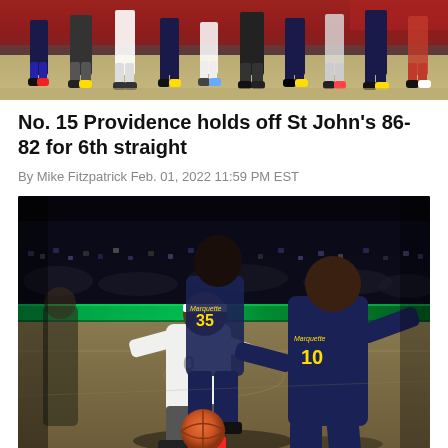[Figure (photo): Top banner photo showing basketball players' legs and shoes on a court, crowded bench area visible]
No. 15 Providence holds off St John's 86-82 for 6th straight
By Mike Fitzpatrick Feb. 01, 2022 11:59 PM EST
[Figure (photo): Basketball game action photo showing Providence player number 0 dribbling ball while Marquette players number 35 and number 10 defend. Players wearing Marquette navy and gold uniforms with logos visible. Arena crowd in background with green scoreboard lighting.]